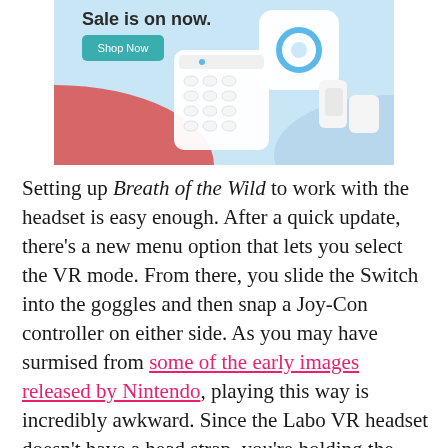[Figure (screenshot): Advertisement banner for a home security system sale (Ring or similar). Light blue background with red/blue wave accents, white smart home devices (keypad, hub, door sensors, motion detector), text 'Sale is on now.' and a teal 'Shop Now' button.]
Setting up Breath of the Wild to work with the headset is easy enough. After a quick update, there's a new menu option that lets you select the VR mode. From there, you slide the Switch into the goggles and then snap a Joy-Con controller on either side. As you may have surmised from some of the early images released by Nintendo, playing this way is incredibly awkward. Since the Labo VR headset doesn't have a head strap, you're holding the entire contraption up to your face the entire time